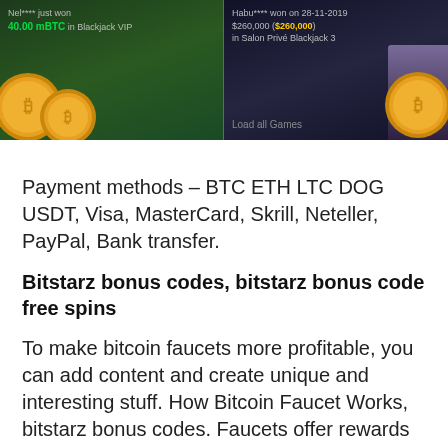[Figure (screenshot): Casino screenshot showing two winner notifications: left panel shows 'Nel**** just won 40.00 mBTC in Blackjack VIP' with bitcoin coins and green background; right panel shows 'Habu**** won on 28-11-2019 $260,000 ($260,000) in Salon Privé Blackjack 3' with a woman dealer image and 'Load all Games' link.]
Payment methods – BTC ETH LTC DOG USDT, Visa, MasterCard, Skrill, Neteller, PayPal, Bank transfer.
Bitstarz bonus codes, bitstarz bonus code free spins
To make bitcoin faucets more profitable, you can add content and create unique and interesting stuff. How Bitcoin Faucet Works, bitstarz bonus codes. Faucets offer rewards to attract visitors. Bitstarz bonuses Willkommen bei der wildz online spielothek. Über tausend online slots und freispiele, die meisten echtzeit